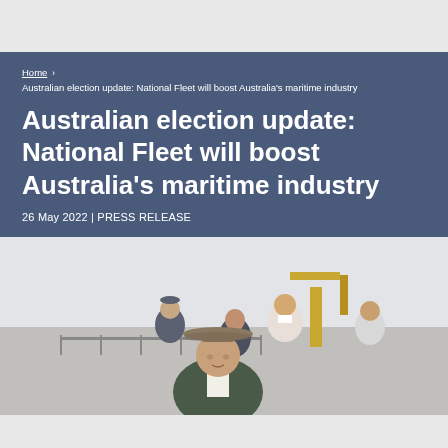Home › Australian election update: National Fleet will boost Australia's maritime industry
Australian election update: National Fleet will boost Australia's maritime industry
26 May 2022 | PRESS RELEASE
[Figure (photo): Group of people standing at a port or maritime facility. A man in a wide-brimmed hat and dark blazer stands in the foreground, with several other people behind him. Industrial port equipment is visible in the background.]